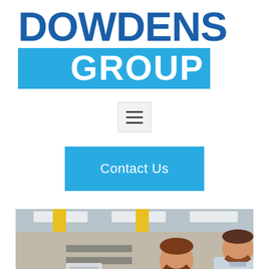[Figure (logo): Dowdens Group logo with dark blue DOWDENS text on white and white GROUP text on cyan/blue bar]
[Figure (other): Hamburger menu icon button - three horizontal lines on light grey background]
[Figure (other): Contact Us button in cyan/blue with white text]
[Figure (photo): Two male workers in light blue shirts inspecting industrial pump and valve equipment in a warehouse/showroom with yellow structural columns, various pumps and fittings on display]